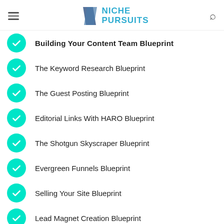Niche Pursuits
Building Your Content Team Blueprint
The Keyword Research Blueprint
The Guest Posting Blueprint
Editorial Links With HARO Blueprint
The Shotgun Skyscraper Blueprint
Evergreen Funnels Blueprint
Selling Your Site Blueprint
Lead Magnet Creation Blueprint
Giveaways Blueprint